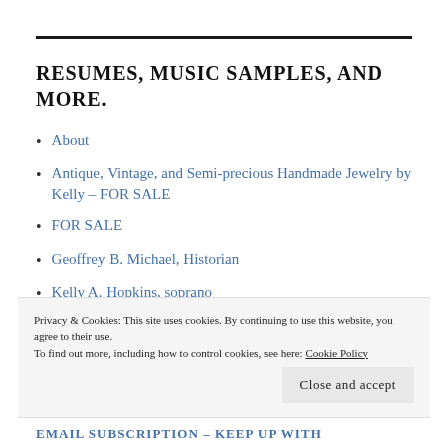RESUMES, MUSIC SAMPLES, AND MORE.
About
Antique, Vintage, and Semi-precious Handmade Jewelry by Kelly – FOR SALE
FOR SALE
Geoffrey B. Michael, Historian
Kelly A. Hopkins, soprano
Resume for Geoffrey Michael
Privacy & Cookies: This site uses cookies. By continuing to use this website, you agree to their use. To find out more, including how to control cookies, see here: Cookie Policy
Close and accept
EMAIL SUBSCRIPTION – KEEP UP WITH